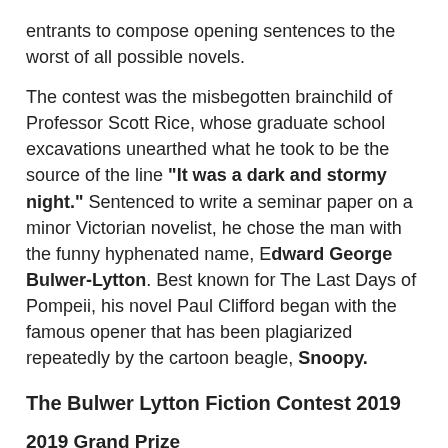entrants to compose opening sentences to the worst of all possible novels.
The contest was the misbegotten brainchild of Professor Scott Rice, whose graduate school excavations unearthed what he took to be the source of the line "It was a dark and stormy night." Sentenced to write a seminar paper on a minor Victorian novelist, he chose the man with the funny hyphenated name, Edward George Bulwer-Lytton. Best known for The Last Days of Pompeii, his novel Paul Clifford began with the famous opener that has been plagiarized repeatedly by the cartoon beagle, Snoopy.
The Bulwer Lytton Fiction Contest 2019
2019 Grand Prize
Space Fleet Commander Brad Brad sat in silence, surrounded by a slowly dissipating cloud of smoke, maintaining the same forlorn frown that had been fixed upon his face since he'd accidentally destroyed the phenomenon known as...